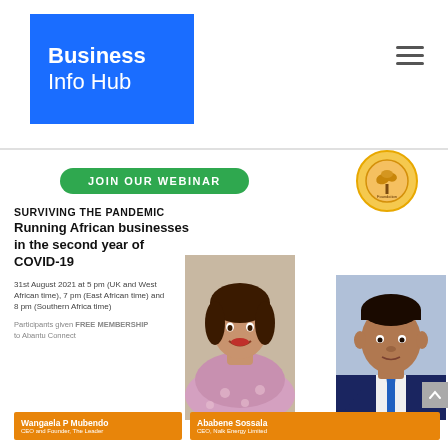[Figure (logo): Business Info Hub logo — white text on blue rectangle background. Bold 'Business' on first line, regular weight 'Info Hub' on second line.]
[Figure (infographic): Webinar promotion banner for 'Surviving the Pandemic: Running African businesses in the second year of COVID-19'. Includes green 'JOIN OUR WEBINAR' button, circular orange logo (Abantu Impact Foundation), two speakers (Wangaela P Mubendo, CEO and Founder, The Leader; Ababene Sossala, CEO, Nalk Energy Limited) with orange name bars at bottom. Event date: 31st August 2021 at 5pm (UK and West African time), 7pm (East African time) and 8pm (Southern Africa time). Participants given FREE MEMBERSHIP to Abantu Connect.]